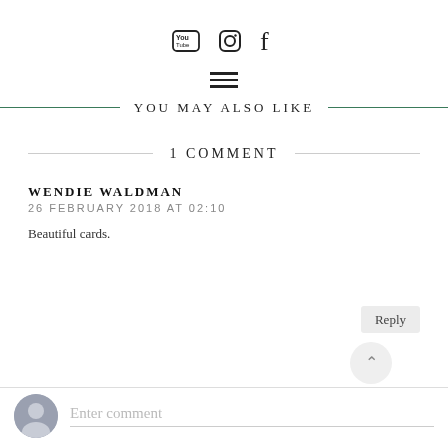[Figure (infographic): Social media icons: YouTube, Instagram, Facebook]
[Figure (infographic): Hamburger menu icon (three horizontal lines)]
YOU MAY ALSO LIKE
1 COMMENT
WENDIE WALDMAN
26 FEBRUARY 2018 AT 02:10
Beautiful cards.
Reply
Enter comment